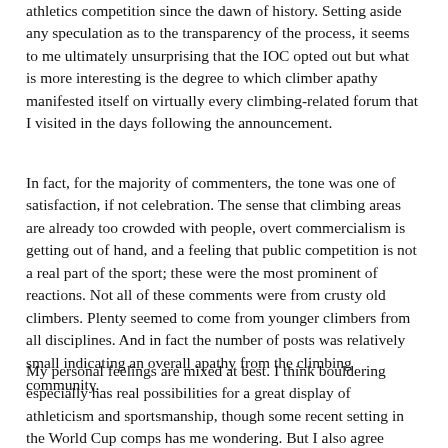athletics competition since the dawn of history. Setting aside any speculation as to the transparency of the process, it seems to me ultimately unsurprising that the IOC opted out but what is more interesting is the degree to which climber apathy manifested itself on virtually every climbing-related forum that I visited in the days following the announcement.
In fact, for the majority of commenters, the tone was one of satisfaction, if not celebration. The sense that climbing areas are already too crowded with people, overt commercialism is getting out of hand, and a feeling that public competition is not a real part of the sport; these were the most prominent of reactions. Not all of these comments were from crusty old climbers. Plenty seemed to come from younger climbers from all disciplines. And in fact the number of posts was relatively small indicating an overall apathy from the climbing community.
My personal feelings are mixed at best. I think bouldering especially has real possibilities for a great display of athleticism and sportsmanship, though some recent setting in the World Cup comps has me wondering. But I also agree